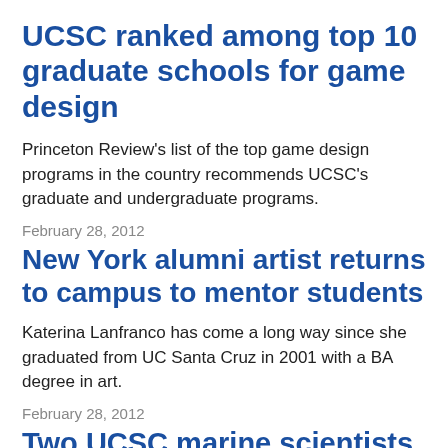UCSC ranked among top 10 graduate schools for game design
Princeton Review's list of the top game design programs in the country recommends UCSC's graduate and undergraduate programs.
February 28, 2012
New York alumni artist returns to campus to mentor students
Katerina Lanfranco has come a long way since she graduated from UC Santa Cruz in 2001 with a BA degree in art.
February 28, 2012
Two UCSC marine scientists awarded Pew Fellowships in Marine...